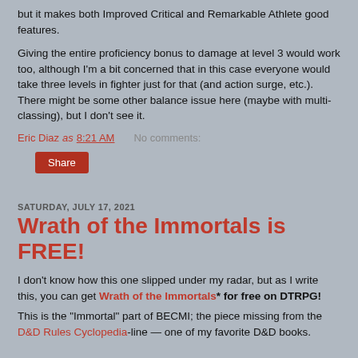but it makes both Improved Critical and Remarkable Athlete good features.
Giving the entire proficiency bonus to damage at level 3 would work too, although I'm a bit concerned that in this case everyone would take three levels in fighter just for that (and action surge, etc.). There might be some other balance issue here (maybe with multi-classing), but I don't see it.
Eric Diaz as 8:21 AM    No comments:
Share
SATURDAY, JULY 17, 2021
Wrath of the Immortals is FREE!
I don't know how this one slipped under my radar, but as I write this, you can get Wrath of the Immortals* for free on DTRPG!
This is the "Immortal" part of BECMI; the piece missing from the D&D Rules Cyclopedia-line — one of my favorite D&D books.